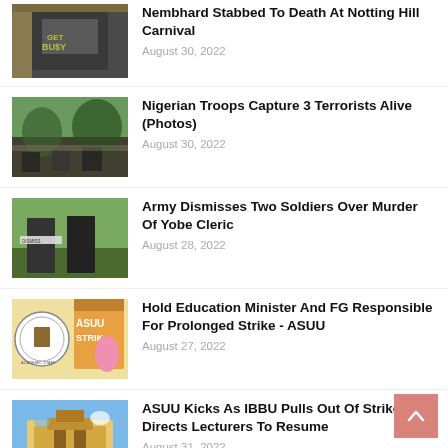[Figure (photo): Person wearing black shirt with GET BUSY text]
Nembhard Stabbed To Death At Notting Hill Carnival
August 30, 2022
[Figure (photo): Motorcycles on a wet road in a hilly area]
Nigerian Troops Capture 3 Terrorists Alive (Photos)
August 30, 2022
[Figure (photo): Two soldiers standing, one holding a protest sign]
Army Dismisses Two Soldiers Over Murder Of Yobe Cleric
August 28, 2022
[Figure (photo): ASUU Strike logo and illustrated figure holding placard]
Hold Education Minister And FG Responsible For Prolonged Strike - ASUU
August 27, 2022
[Figure (photo): University building with green lawns and blue sky]
ASUU Kicks As IBBU Pulls Out Of Strike And Directs Lecturers To Resume
August 31, 2022